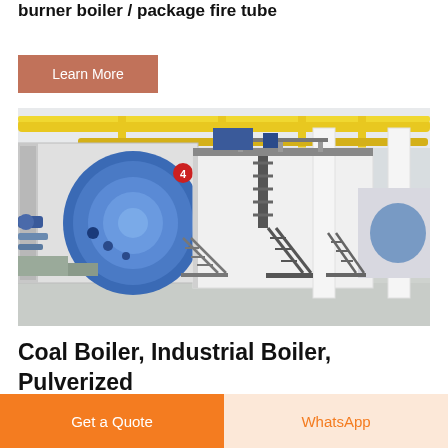burner boiler / package fire tube
Learn More
[Figure (photo): Industrial boiler room with large blue cylindrical fire tube boilers, yellow overhead piping, metal staircases, and white support columns in a large factory facility.]
Coal Boiler, Industrial Boiler, Pulverized
Get a Quote
WhatsApp